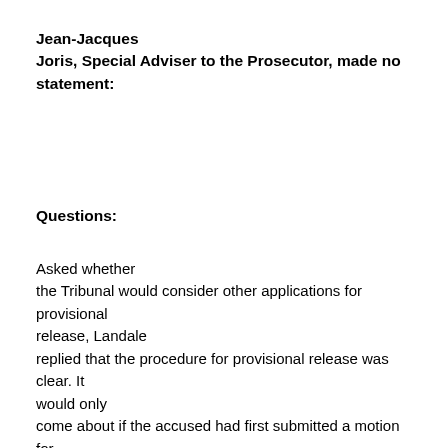Jean-Jacques Joris, Special Adviser to the Prosecutor, made no statement:
Questions:
Asked whether the Tribunal would consider other applications for provisional release, Landale replied that the procedure for provisional release was clear. It would only come about if the accused had first submitted a motion for provisional release to the Trial Chamber setting out arguments for their provisional release. The Judges of the Trial Chamber would then consider that motion along with any submission from other interested parties including the